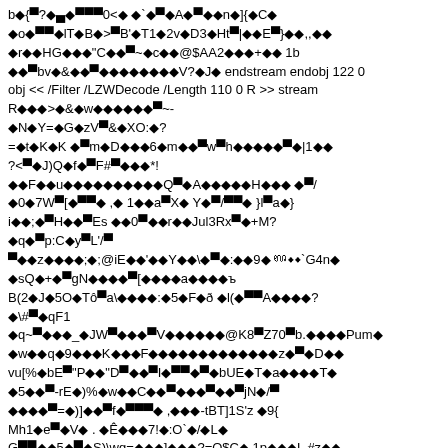b◆{▀?◆▄◆0▀◆◆0<◆ ◆`◆▀◆A◆▀◆◆n◆]{◆C◆
◆o◆▀▀◆lT◆B◆>▀B'◆T1◆2v◆D3◆Ht▀|◆◆E▀}◆◆,,◆◆
◆r◆◆HG◆◆◆"C◆◆▀~◆c◆◆@$AA2◆◆◆+◆◆ 1b
◆◆▀bv◆&◆◆▀◆◆◆◆◆◆◆◆V?◆J◆ endstream endobj 122 0
obj << /Filter /LZWDecode /Length 110 0 R >> stream
R◆◆◆>◆&◆w◆◆◆◆◆◆▀~-
◆N◆Y=◆G◆zV▀&◆XO:◆?
=◆t◆K◆K ◆▀m◆D◆◆◆6◆m◆◆▀w▀h◆◆◆◆◆▀◆|1◆◆
?<▀◆J)Q◆f◆▀F#▀◆◆◆*!
◆◆F◆◆u◆◆◆◆◆◆◆◆◆◆Q▀◆A◆◆◆◆◆H◆◆◆ ◆▀/
◆0◆7W▀[◆▀▀◆ ,◆ 1◆◆a▀X◆ Y◆▀/▀▀◆ }l▀a◆}
i◆◆;◆▀H◆◆▀Es ◆◆0▀◆◆r◆◆Jul3Rx▀◆+M?
◆q◆▀p:C◆y▀L'/▀
▀◆◆z◆◆◆◆;◆;@iE◆◆'◆◆Y◆◆\◆▀◆:◆◆9◆ Ċ◆◆`G4n◆
◆sQ◆+◆▀gN◆◆◆◆▀[◆◆◆◆a◆◆◆◆ъ
B(2◆J◆5O◆Tô▀a\◆◆◆◆:◆5◆F◆ð ◆l(◆▀▀A◆◆◆◆?
◆\#▀◆qF1
◆q~▀◆◆◆_◆JW▀◆◆◆▀V◆◆◆◆◆◆@K8▀Z70▀b.◆◆◆◆Pum◆
◆w◆◆q◆9◆◆◆K◆◆◆F◆◆◆◆◆◆◆◆◆◆◆◆◆z◆▀◆D◆◆
vu[%◆bE▀"P◆◆"D▀◆◆▀I◆▀▀◆▀◆bUE◆T◆a◆◆◆◆T◆
◆5◆◆▀-rE◆)%◆w◆◆C◆◆▀◆◆◆▀◆◆▀jN◆/▀
◆◆◆◆▀=◆)]◆◆▀f◆▀▀▀◆ ,◆◆◆-tBT]1S'z ◆9{
Mh1◆e▀◆V◆ . ◆Ê◆◆◆7!◆:O`◆/◆L◆
G▀▀◆◆5◆▀◆S)\wg=◆◆◆]◆◆◆?=Q$C◆ 1p◆◆◆L #z◆◆